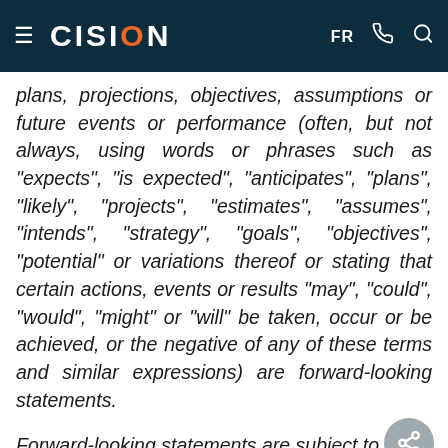CISION — FR
plans, projections, objectives, assumptions or future events or performance (often, but not always, using words or phrases such as "expects", "is expected", "anticipates", "plans", "likely", "projects", "estimates", "assumes", "intends", "strategy", "goals", "objectives", "potential" or variations thereof or stating that certain actions, events or results "may", "could", "would", "might" or "will" be taken, occur or be achieved, or the negative of any of these terms and similar expressions) are forward-looking statements.
Forward-looking statements are subject to a variety